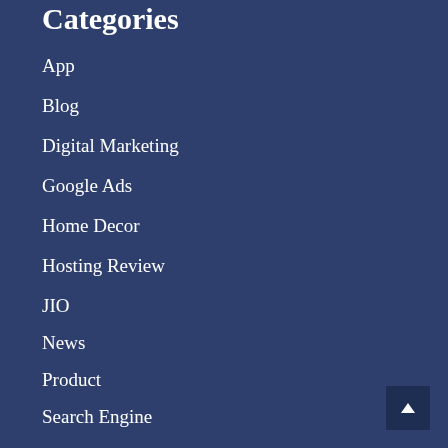Categories
App
Blog
Digital Marketing
Google Ads
Home Decor
Hosting Review
JIO
News
Product
Search Engine
SEO
SMM